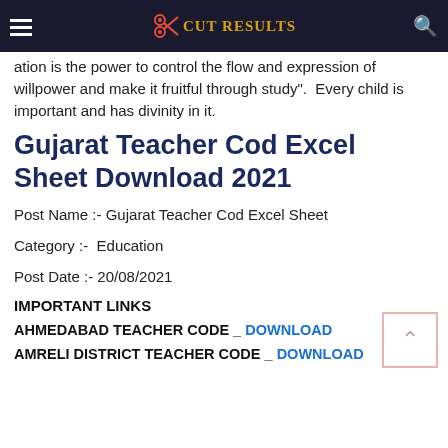CUT RESULTS
ation is the power to control the flow and expression of willpower and make it fruitful through study". Every child is important and has divinity in it.
Gujarat Teacher Cod Excel Sheet Download 2021
Post Name :- Gujarat Teacher Cod Excel Sheet
Category :- Education
Post Date :- 20/08/2021
IMPORTANT LINKS
AHMEDABAD TEACHER CODE _ DOWNLOAD
AMRELI DISTRICT TEACHER CODE _ DOWNLOAD